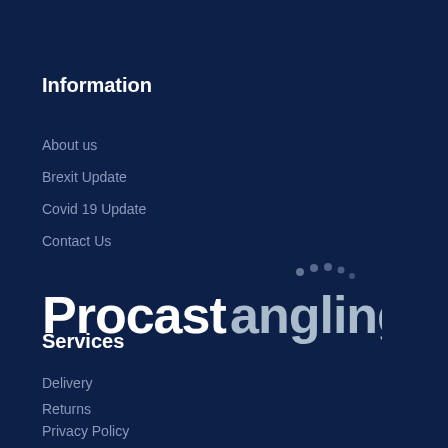Information
About us
Brexit Update
Covid 19 Update
Contact Us
[Figure (logo): Procastangling logo with white bold text and dot-arc graphic elements]
Services
Delivery
Returns
Privacy Policy
Terms & Conditions